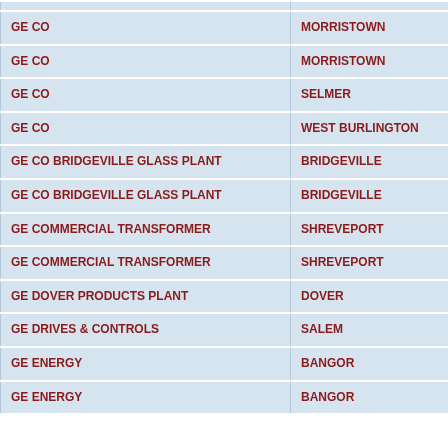| Facility Name | City | State |
| --- | --- | --- |
| GE CO | MORRISTOWN | TN |
| GE CO | MORRISTOWN | TN |
| GE CO | SELMER | TN |
| GE CO | WEST BURLINGTON | IA |
| GE CO BRIDGEVILLE GLASS PLANT | BRIDGEVILLE | PA |
| GE CO BRIDGEVILLE GLASS PLANT | BRIDGEVILLE | PA |
| GE COMMERCIAL TRANSFORMER | SHREVEPORT | LA |
| GE COMMERCIAL TRANSFORMER | SHREVEPORT | LA |
| GE DOVER PRODUCTS PLANT | DOVER | OH |
| GE DRIVES & CONTROLS | SALEM | VA |
| GE ENERGY | BANGOR | ME |
| GE ENERGY | BANGOR | ME |